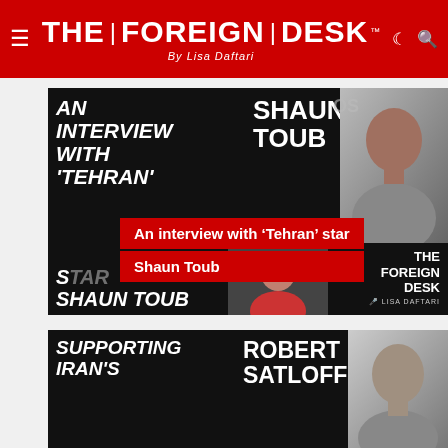THE FOREIGN DESK™ By Lisa Daftari
[Figure (photo): Article thumbnail for interview with 'Tehran' star Shaun Toub — black background with bold white uppercase text 'AN INTERVIEW WITH TEHRAN STAR SHAUN TOUB', a headshot photo of Shaun Toub, a red overlay banner reading 'An interview with Tehran star Shaun Toub', and The Foreign Desk logo with Lisa Daftari host photo]
An interview with ‘Tehran’ star Shaun Toub
[Figure (photo): Article thumbnail for interview with Robert Satloff — black background with bold white uppercase text 'SUPPORTING IRAN'S' and 'ROBERT SATLOFF', with a headshot photo of Robert Satloff on the right]